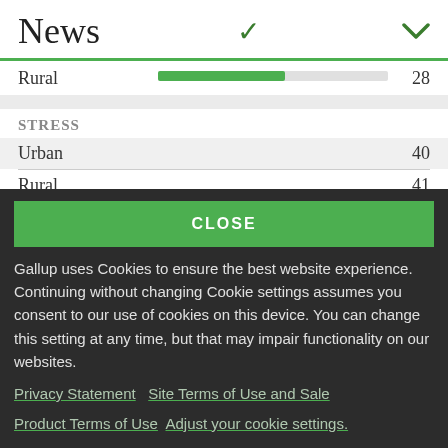News
|  |  |
| --- | --- |
| Rural | 28 |
| STRESS |  |
| Urban | 40 |
| Rural | 41 |
GALLUP®
CLOSE
Gallup uses Cookies to ensure the best website experience. Continuing without changing Cookie settings assumes you consent to our use of cookies on this device. You can change this setting at any time, but that may impair functionality on our websites.
Privacy Statement   Site Terms of Use and Sale
Product Terms of Use   Adjust your cookie settings.